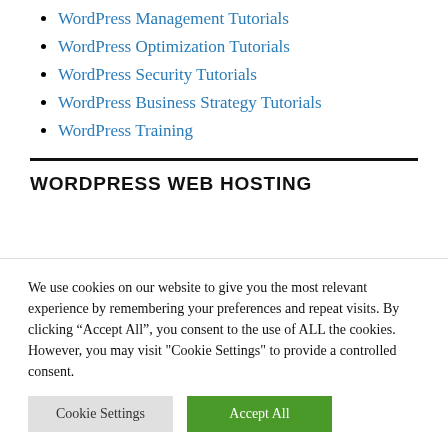WordPress Management Tutorials
WordPress Optimization Tutorials
WordPress Security Tutorials
WordPress Business Strategy Tutorials
WordPress Training
WORDPRESS WEB HOSTING
We use cookies on our website to give you the most relevant experience by remembering your preferences and repeat visits. By clicking “Accept All”, you consent to the use of ALL the cookies. However, you may visit "Cookie Settings" to provide a controlled consent.